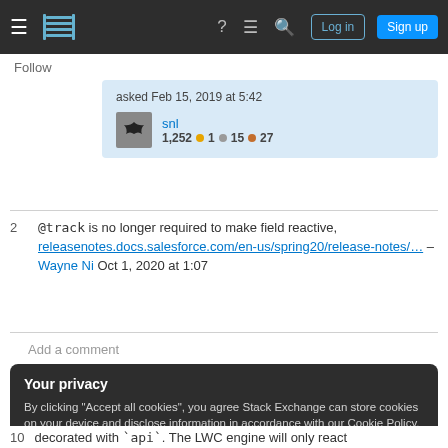Stack Exchange navigation bar with Log in and Sign up buttons
Follow
asked Feb 15, 2019 at 5:42
snl
1,252 ●1 ●15 ●27
@track is no longer required to make field reactive, releasenotes.docs.salesforce.com/en-us/spring20/release-notes/… – Wayne Ni Oct 1, 2020 at 1:07
Add a comment
Your privacy
By clicking "Accept all cookies", you agree Stack Exchange can store cookies on your device and disclose information in accordance with our Cookie Policy.
Accept all cookies
Customize settings
decorated with `api`. The LWC engine will only react